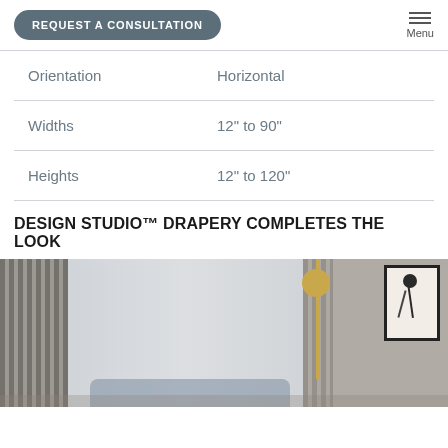REQUEST A CONSULTATION | Menu
|  |  |
| --- | --- |
| Orientation | Horizontal |
| Widths | 12" to 90" |
| Heights | 12" to 120" |
DESIGN STUDIO™ DRAPERY COMPLETES THE LOOK
[Figure (photo): Interior room photo showing drapery/curtains, a sheer blind, a gold floor lamp, and framed art on the wall]